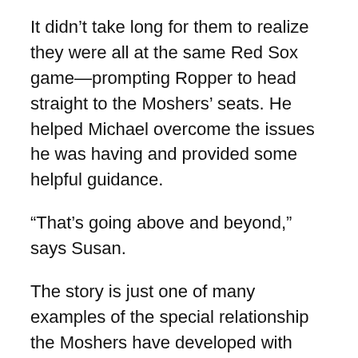It didn't take long for them to realize they were all at the same Red Sox game—prompting Ropper to head straight to the Moshers' seats. He helped Michael overcome the issues he was having and provided some helpful guidance.
“That’s going above and beyond,” says Susan.
The story is just one of many examples of the special relationship the Moshers have developed with Ropper, a renowned neurologist at Brigham and Women’s Hospital. Ropper’s combination of expertise, empathy, and humor have been instrumental in helping the couple navigate the challenges